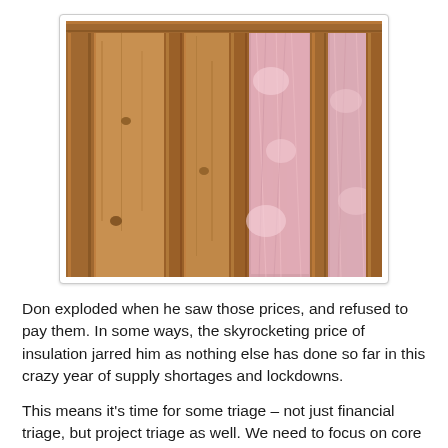[Figure (photo): Photograph of wall framing showing wooden studs on the left side and pink fiberglass batt insulation installed between studs on the right side.]
Don exploded when he saw those prices, and refused to pay them. In some ways, the skyrocketing price of insulation jarred him as nothing else has done so far in this crazy year of supply shortages and lockdowns.
This means it's time for some triage – not just financial triage, but project triage as well. We need to focus on core infrastructure – livestock stuff, fencing, garden, and low-tech items to keep us going.